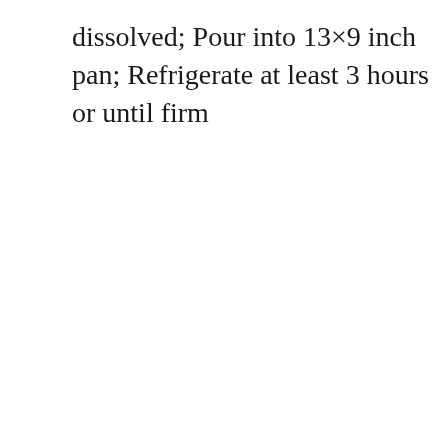dissolved; Pour into 13×9 inch pan; Refrigerate at least 3 hours or until firm